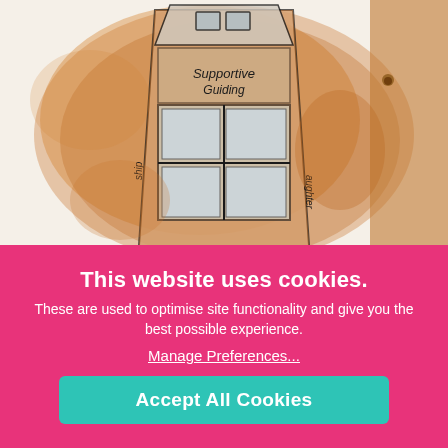[Figure (illustration): Artwork illustration of a building/tower rendered in mixed media with orange/brown watercolor washes and ink outlines. The structure shows windows and architectural details with handwritten text including 'Supportive', 'Guiding', and partial words 'ship' and 'aughter' visible on the sides.]
This website uses cookies.
These are used to optimise site functionality and give you the best possible experience.
Manage Preferences...
Accept All Cookies